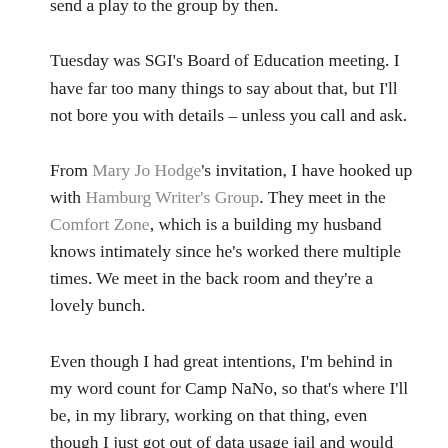meetings for six months as an experiment to see how it goes. Hopefully, I'll work up my courage to send a play to the group by then.
Tuesday was SGI's Board of Education meeting. I have far too many things to say about that, but I'll not bore you with details – unless you call and ask.
From Mary Jo Hodge's invitation, I have hooked up with Hamburg Writer's Group. They meet in the Comfort Zone, which is a building my husband knows intimately since he's worked there multiple times. We meet in the back room and they're a lovely bunch.
Even though I had great intentions, I'm behind in my word count for Camp NaNo, so that's where I'll be, in my library, working on that thing, even though I just got out of data usage jail and would prefer to scroll and search for niggling little details, "new book" needs attention. All right, after I finish The Guernsey Literary and Potato Peel Pie Society by Mary Ann Shaffer and Annie Burrows. The recommendation was from Gina Detwiler. She has a new book out with Priscilla Shirer called The Prince Warriors. Yeah Gina!